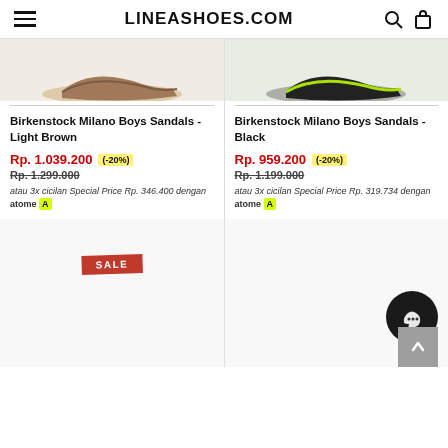LINEASHOES.COM
[Figure (photo): Birkenstock Milano Boys Sandals Light Brown - partial product image at top]
[Figure (photo): Birkenstock Milano Boys Sandals Black - partial product image at top]
Birkenstock Milano Boys Sandals - Light Brown
Rp. 1.039.200 (-20%) Rp. 1.299.000 atau 3x cicilan Special Price Rp. 346.400 dengan atome
Birkenstock Milano Boys Sandals - Black
Rp. 959.200 (-20%) Rp. 1.199.000 atau 3x cicilan Special Price Rp. 319.734 dengan atome
[Figure (photo): Product image area with SALE badge]
[Figure (photo): Product image area right side with chat button and scroll-to-top button]